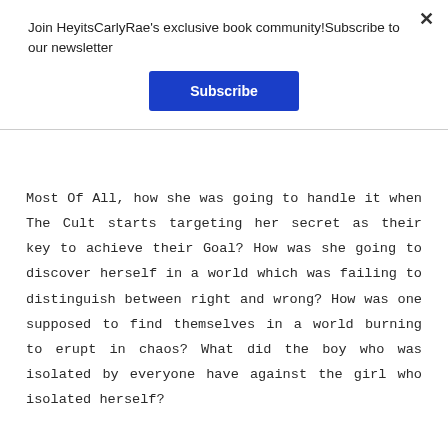Join HeyitsCarlyRae's exclusive book community!Subscribe to our newsletter
[Figure (other): Blue Subscribe button]
Most Of All, how she was going to handle it when The Cult starts targeting her secret as their key to achieve their Goal? How was she going to discover herself in a world which was failing to distinguish between right and wrong? How was one supposed to find themselves in a world burning to erupt in chaos? What did the boy who was isolated by everyone have against the girl who isolated herself?